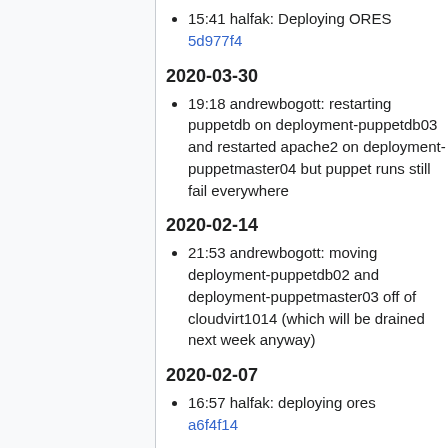15:41 halfak: Deploying ORES 5d977f4
2020-03-30
19:18 andrewbogott: restarting puppetdb on deployment-puppetdb03 and restarted apache2 on deployment-puppetmaster04 but puppet runs still fail everywhere
2020-02-14
21:53 andrewbogott: moving deployment-puppetdb02 and deployment-puppetmaster03 off of cloudvirt1014 (which will be drained next week anyway)
2020-02-07
16:57 halfak: deploying ores a6f4f14